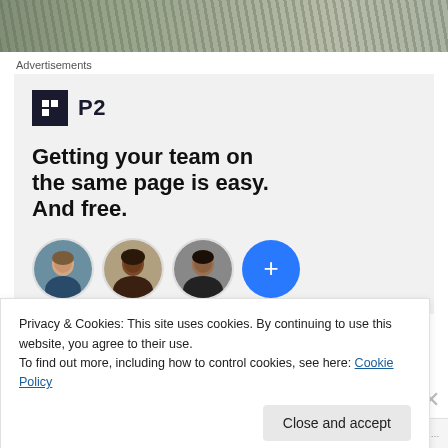[Figure (photo): Partial photo banner at top of page showing outdoor/nature scene with muted green and grey tones]
Advertisements
[Figure (infographic): Advertisement for P2. Logo shows a dark square icon with grid symbol followed by 'P2' text. Headline reads: 'Getting your team on the same page is easy. And free.' Below are three circular avatar photos of people and a blue circle with a plus sign.]
Privacy & Cookies: This site uses cookies. By continuing to use this website, you agree to their use.
To find out more, including how to control cookies, see here: Cookie Policy
Close and accept